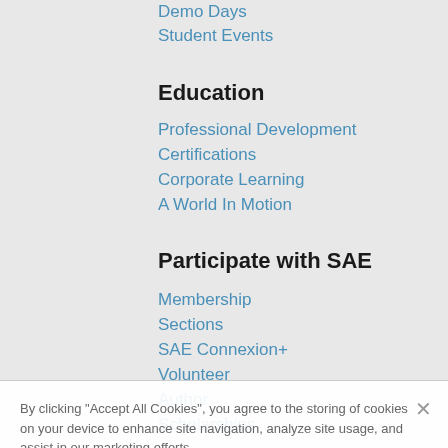Demo Days
Student Events
Education
Professional Development
Certifications
Corporate Learning
A World In Motion
Participate with SAE
Membership
Sections
SAE Connexion+
Volunteer
Author
Scholarships
Awards
Careers
SAE Foundation
About SAE
Mission & Vision
History
Management
Leadership
By clicking "Accept All Cookies", you agree to the storing of cookies on your device to enhance site navigation, analyze site usage, and assist in our marketing efforts.